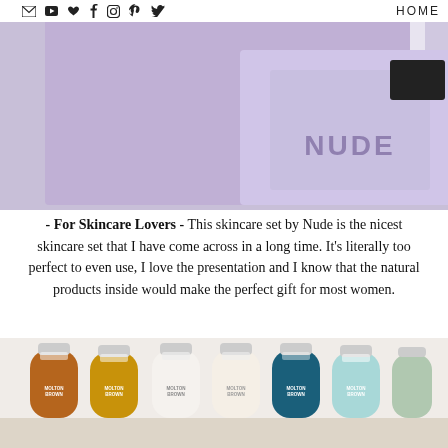HOME
[Figure (photo): Close-up photo of a Nude skincare set in a purple/lavender box, showing products labeled NUDE]
- For Skincare Lovers - This skincare set by Nude is the nicest skincare set that I have come across in a long time. It's literally too perfect to even use, I love the presentation and I know that the natural products inside would make the perfect gift for most women.
[Figure (photo): Photo of a row of Molton Brown London travel-size body wash and body lotion bottles in various colors (amber, gold, white, teal, blue, light green) arranged on a shelf]